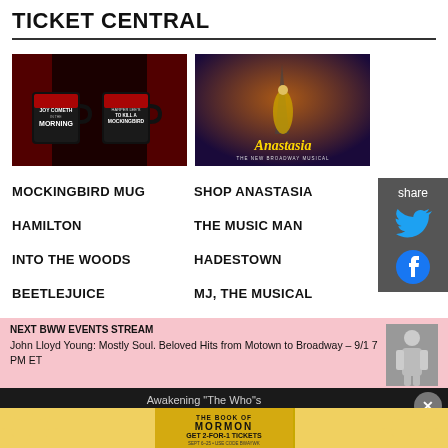TICKET CENTRAL
[Figure (photo): Official Broadway Merch - Mockingbird Mug: Two black mugs with red interior against dark red curtain background, with text JOY COMETH IN THE MORNING and TO KILL A MOCKINGBIRD]
[Figure (photo): Official Broadway Merch - Anastasia: Broadway musical promotional image showing a dancer in golden dress with Eiffel Tower and purple/orange sky background, text ANASTASIA THE NEW BROADWAY MUSICAL]
MOCKINGBIRD MUG
SHOP ANASTASIA
HAMILTON
THE MUSIC MAN
INTO THE WOODS
HADESTOWN
BEETLEJUICE
MJ, THE MUSICAL
NEXT BWW EVENTS STREAM
John Lloyd Young: Mostly Soul. Beloved Hits from Motown to Broadway – 9/1 7 PM ET
Awakening "The Who"s
[Figure (photo): The Book of Mormon advertisement: GET 2-FOR-1 TICKETS DURING NYC BROADWAY WEEK • SEPTEMBER 6–25, USE CODE BWAYWK, GET TICKETS button, gold starburst pattern background]